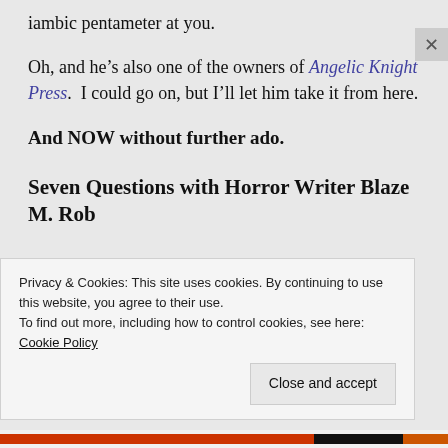iambic pentameter at you.
Oh, and he’s also one of the owners of Angelic Knight Press.  I could go on, but I’ll let him take it from here.
And NOW without further ado.
Seven Questions with Horror Writer Blaze M. Rob…
Privacy & Cookies: This site uses cookies. By continuing to use this website, you agree to their use.
To find out more, including how to control cookies, see here: Cookie Policy
Close and accept